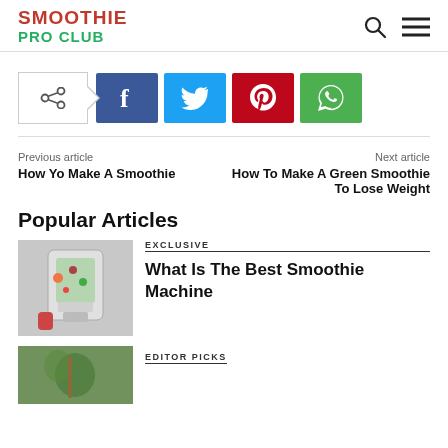SMOOTHIE PRO CLUB
[Figure (infographic): Social share buttons: share toggle, Facebook, Twitter, Pinterest, WhatsApp]
Previous article
How Yo Make A Smoothie
Next article
How To Make A Green Smoothie To Lose Weight
Popular Articles
[Figure (photo): Photo of a blender with fruits and berries inside, smoothie machine]
EXCLUSIVE
What Is The Best Smoothie Machine
EDITOR PICKS
[Figure (photo): Photo of a green smoothie in a glass jar with straw]